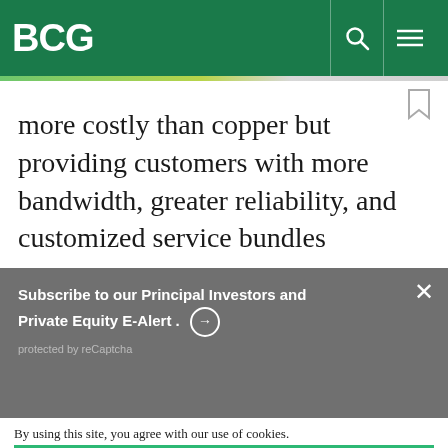BCG
more costly than copper but providing customers with more bandwidth, greater reliability, and customized service bundles
Subscribe to our Principal Investors and Private Equity E-Alert. ⊕
protected by reCaptcha
By using this site, you agree with our use of cookies.
I consent to cookies
Want to know more?
Read our Cookie Policy